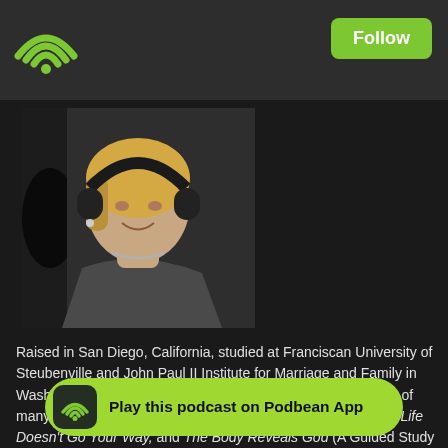Follow
[Figure (photo): Profile photo of a blonde woman wearing headphones, facing slightly left, in a radio/podcast studio setting with a dark background.]
Raised in San Diego, California, studied at Franciscan University of Steubenville and John Paul II Institute for Marriage and Family in Washington, DC. Katrina is the author and contributing author of many books, including books on the Feminine Genius,  When Life Doesn't Go Your Way, and The Body Reveals God (A Guided Study of John Paul II's Theology of the Body ). Katrina served appeared on EWTN, Catholic Familyland TV on various topics, she is has over 50 articles in publication, and she has spoken in Canada, and in Rome, Switzerland, Australia, Ireland, Canada, and
[Figure (logo): Play this podcast on Podbean App banner button with Podbean wifi icon]